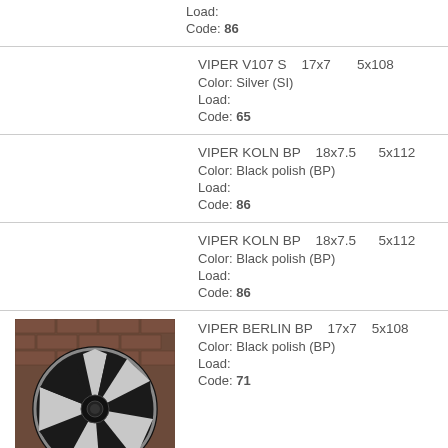Load:
Code: 86
VIPER V107 S    17x7        5x108
Color: Silver (SI)
Load:
Code: 65
VIPER KOLN BP    18x7.5        5x112
Color: Black polish (BP)
Load:
Code: 86
VIPER KOLN BP    18x7.5        5x112
Color: Black polish (BP)
Load:
Code: 86
[Figure (photo): Alloy wheel - VIPER BERLIN BP, black polish finish, multi-spoke design, photographed against a brick wall background]
VIPER BERLIN BP    17x7    5x108
Color: Black polish (BP)
Load:
Code: 71